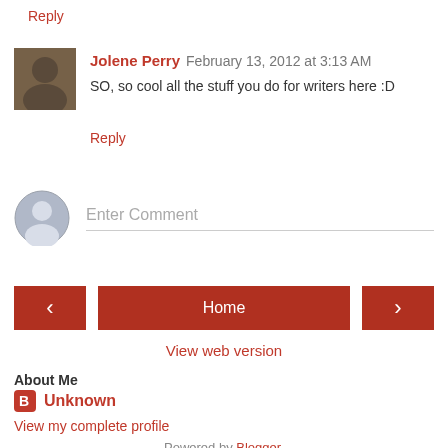Reply
Jolene Perry  February 13, 2012 at 3:13 AM
SO, so cool all the stuff you do for writers here :D
Reply
Enter Comment
Home
View web version
About Me
Unknown
View my complete profile
Powered by Blogger.